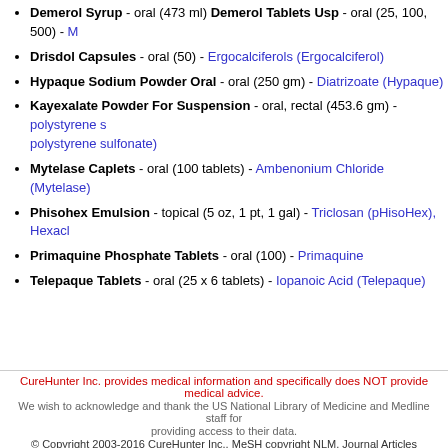Demerol Syrup - oral (473 ml) Demerol Tablets Usp - oral (25, 100, 500) - M[eperidine (Demerol)]
Drisdol Capsules - oral (50) - Ergocalciferols (Ergocalciferol)
Hypaque Sodium Powder Oral - oral (250 gm) - Diatrizoate (Hypaque)
Kayexalate Powder For Suspension - oral, rectal (453.6 gm) - polystyrene s[ulfonate (Kayexalate) polystyrene sulfonate]
Mytelase Caplets - oral (100 tablets) - Ambenonium Chloride (Mytelase)
Phisohex Emulsion - topical (5 oz, 1 pt, 1 gal) - Triclosan (pHisoHex), Hexacl[orophene]
Primaquine Phosphate Tablets - oral (100) - Primaquine
Telepaque Tablets - oral (25 x 6 tablets) - Iopanoic Acid (Telepaque)
CureHunter Inc. provides medical information and specifically does NOT provide medical advice. We wish to acknowledge and thank the US National Library of Medicine and Medline staff for providing access to their data. © Copyright 2003-2016 CureHunter Inc., MeSH copyright NLM, Journal Articles copyright original owners.